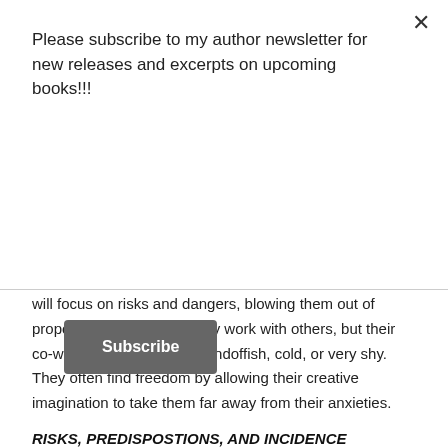Please subscribe to my author newsletter for new releases and excerpts on upcoming books!!!
Subscribe
will focus on risks and dangers, blowing them out of proportion. They can usually work with others, but their co-workers think they're standoffish, cold, or very shy. They often find freedom by allowing their creative imagination to take them far away from their anxieties.
RISKS, PREDISPOSTIONS, AND INCIDENCE
Their lack of satisfactory ties to other people make them prone to mood disorders, anxiety disorders, phobias. They may develop amnesia or depersonalization (dissociative disorders). Inborn temperament may predispose them to this personality disorder. Other than biological or constitutional factors, a disfiguring illness may contribute. Faced with anxiety, they become extremely tense and